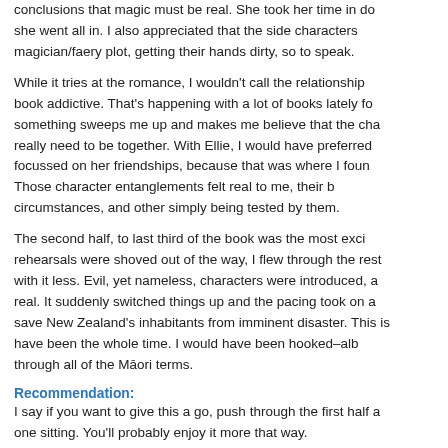conclusions that magic must be real. She took her time in doing so before she went all in. I also appreciated that the side characters were in the magician/faery plot, getting their hands dirty, so to speak.
While it tries at the romance, I wouldn't call the relationship what makes the book addictive. That's happening with a lot of books lately for me, where something sweeps me up and makes me believe that the characters just really need to be together. With Ellie, I would have preferred if the story focussed on her friendships, because that was where I found the magic. Those character entanglements felt real to me, their being shaped by circumstances, and other simply being tested by them.
The second half, to last third of the book was the most exciting. Once the rehearsals were shoved out of the way, I flew through the rest and struggled with it less. Evil, yet nameless, characters were introduced, and it felt real. It suddenly switched things up and the pacing took on a urgency to save New Zealand's inhabitants from imminent disaster. This is what it should have been the whole time. I would have been hooked–albeit, stumbling through all of the Māori terms.
Recommendation:
I say if you want to give this a go, push through the first half and read it in one sitting. You'll probably enjoy it more that way.